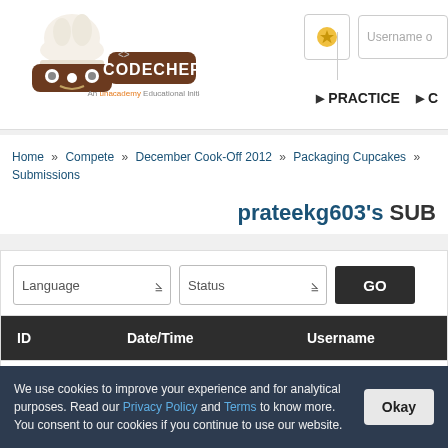[Figure (logo): CodeChef logo — chef hat with robot face mascot and text CODECHEF, An unacademy Educational Initiative]
PRACTICE
Home » Compete » December Cook-Off 2012 » Packaging Cupcakes » Submissions
prateekg603's SUBMISSIONS
Language | Status | GO
| ID | Date/Time | Username |
| --- | --- | --- |
| 1643735 | 09:52 PM 23/12/12 | 5★ prateekg603 |
We use cookies to improve your experience and for analytical purposes. Read our Privacy Policy and Terms to know more. You consent to our cookies if you continue to use our website.